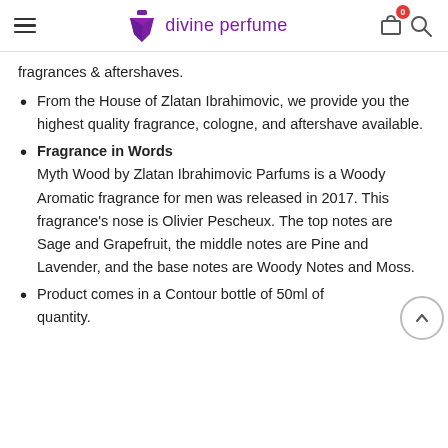divine perfume
fragrances & aftershaves.
From the House of Zlatan Ibrahimovic, we provide you the highest quality fragrance, cologne, and aftershave available.
Fragrance in Words
Myth Wood by Zlatan Ibrahimovic Parfums is a Woody Aromatic fragrance for men was released in 2017. This fragrance's nose is Olivier Pescheux. The top notes are Sage and Grapefruit, the middle notes are Pine and Lavender, and the base notes are Woody Notes and Moss.
Product comes in a Contour bottle of 50ml of quantity.